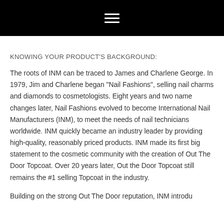≡ (hamburger menu)
KNOWING YOUR PRODUCT'S BACKGROUND:
The roots of INM can be traced to James and Charlene George. In 1979, Jim and Charlene began "Nail Fashions", selling nail charms and diamonds to cosmetologists. Eight years and two name changes later, Nail Fashions evolved to become International Nail Manufacturers (INM), to meet the needs of nail technicians worldwide. INM quickly became an industry leader by providing high-quality, reasonably priced products. INM made its first big statement to the cosmetic community with the creation of Out The Door Topcoat. Over 20 years later, Out the Door Topcoat still remains the #1 selling Topcoat in the industry.
Building on the strong Out The Door reputation, INM introdu... The Door Acrylic Solution System, which is...